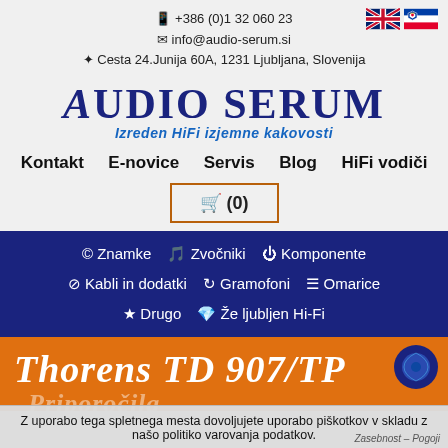📱 +386 (0)1 32 060 23 | ✉ info@audio-serum.si | ✦ Cesta 24.Junija 60A, 1231 Ljubljana, Slovenija
AUDIO SERUM — Izreden HiFi izjemne kakovosti
Kontakt  E-novice  Servis  Blog  HiFi vodiči
🛒 (0)
© Znamke  🎵 Zvočniki  ⏻ Komponente  ⊘ Kabli in dodatki  ↻ Gramofoni  ☰ Omarice  ★ Drugo  💎 Že ljubljen Hi-Fi
Thorens TD 907/TP...
Z uporabo tega spletnega mesta dovoljujete uporabo piškotkov v skladu z našo politiko varovanja podatkov.